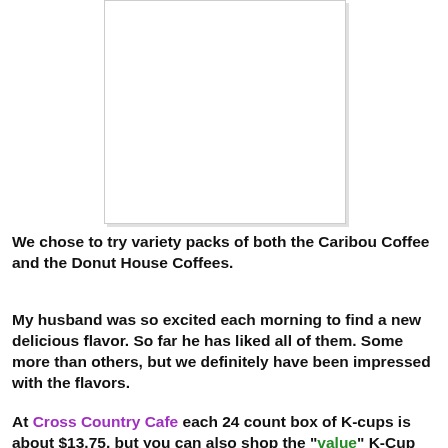[Figure (other): White rectangular placeholder image with a light gray border and shadow]
We chose to try variety packs of both the Caribou Coffee and the Donut House Coffees.
My husband was so excited each morning to find a new delicious flavor. So far he has liked all of them. Some more than others, but we definitely have been impressed with the flavors.
At Cross Country Cafe each 24 count box of K-cups is about $13.75, but you can also shop the "value" K-Cup section to get